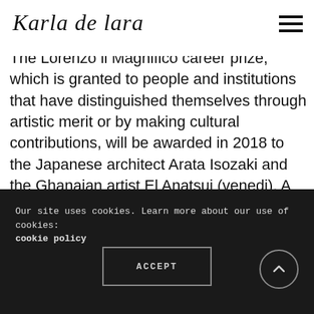Karla de Lara
years event.
The Lorenzo il Magnifico career prize, which is granted to people and institutions that have distinguished themselves through artistic merit or by making cultural contributions, will be awarded in 2018 to the Japanese architect Arata Isozaki and the Ghanaian artist El Anatsui (venedi). A special President's prize will be awarded to the young German artist Tim Bengel, and the commemorative career prize will be awarded
Our site uses cookies. Learn more about our use of cookies: cookie policy
ACCEPT